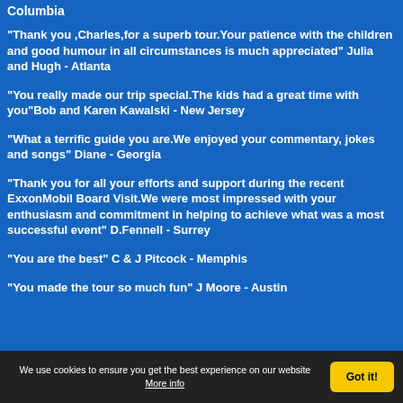Columbia
"Thank you ,Charles,for a superb tour.Your patience with the children and good humour in all circumstances is much appreciated" Julia and Hugh - Atlanta
"You really made our trip special.The kids had a great time with you"Bob and Karen Kawalski - New Jersey
"What a terrific guide you are.We enjoyed your commentary, jokes and songs" Diane - Georgia
"Thank you for all your efforts and support during the recent ExxonMobil Board Visit.We were most impressed with your enthusiasm and commitment in helping to achieve what was a most successful event" D.Fennell - Surrey
"You are the best" C & J Pitcock - Memphis
"You made the tour so much fun" J Moore - Austin
We use cookies to ensure you get the best experience on our website More info  Got it!